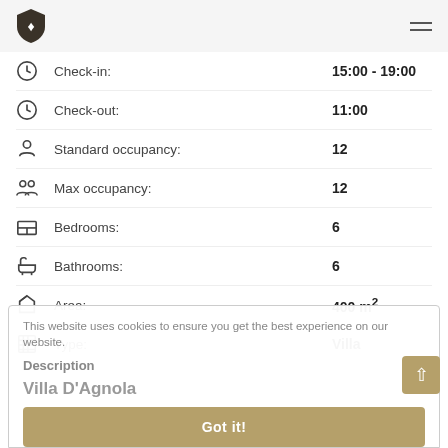Logo and navigation header
Check-in: 15:00 - 19:00
Check-out: 11:00
Standard occupancy: 12
Max occupancy: 12
Bedrooms: 6
Bathrooms: 6
Area: 400 m²
Type: Villa
This website uses cookies to ensure you get the best experience on our website.
Description
Villa D'Agnola
Got it!